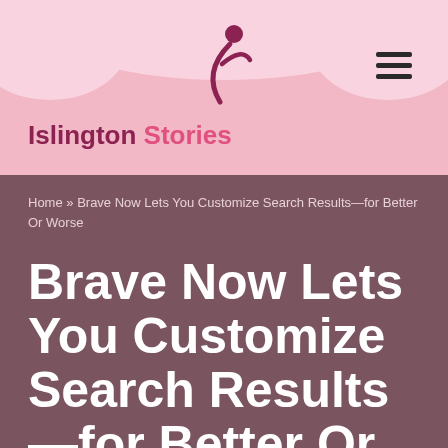[Figure (logo): Islington Stories logo with stylized stick figure icon in dark pink and brand name in two-tone pink text]
Home » Brave Now Lets You Customize Search Results—for Better Or Worse
Brave Now Lets You Customize Search Results—for Better Or Worse